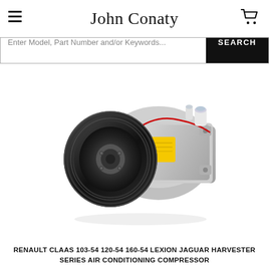John Conaty
[Figure (photo): Air conditioning compressor — black pulley on left, silver cylindrical body with yellow label and red wire, mounting flanges, white/blue fittings on top right]
RENAULT CLAAS 103-54 120-54 160-54 LEXION JAGUAR HARVESTER SERIES AIR CONDITIONING COMPRESSOR